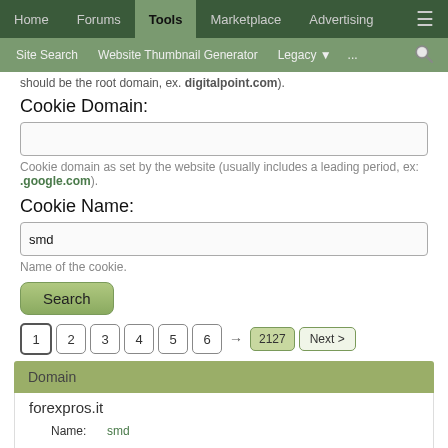Home | Forums | Tools | Marketplace | Advertising
Site Search | Website Thumbnail Generator | Legacy | ...
should be the root domain, ex. digitalpoint.com).
Cookie Domain:
Cookie domain as set by the website (usually includes a leading period, ex: .google.com).
Cookie Name:
smd
Name of the cookie.
Search
1 2 3 4 5 6 → 2127 Next >
| Domain |
| --- |
| forexpros.it |
| Name: smd | Domain: .investing.com | Expires: Tuesday at 10:35 AM | Value: 88de0ed3ede1e8a6f3945c832929db8d-1661879144 |
Name: smd
Domain: .investing.com
Expires: Tuesday at 10:35 AM
Value: 88de0ed3ede1e8a6f3945c832929db8d-1661879144